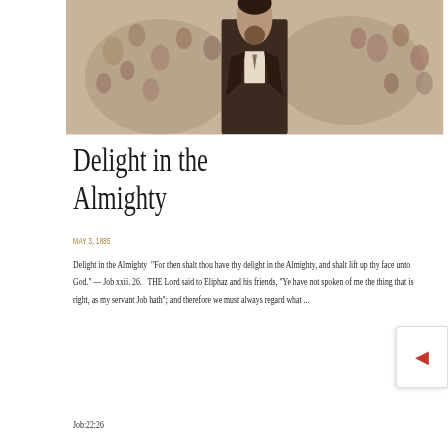[Figure (illustration): Sepia-toned vintage illustration of a man in a dark suit surrounded by many faces in the background, engraving style.]
Delight in the Almighty
MAY 3, 1885
Delight in the Almighty  “For then shalt thou have thy delight in the Almighty, and shalt lift up thy face unto God.” — Job xxii. 26.   THE Lord said to Eliphaz and his friends, “Ye have not spoken of me the thing that is right, as my servant Job hath”; and therefore we must always regard what ...
Job:22:26